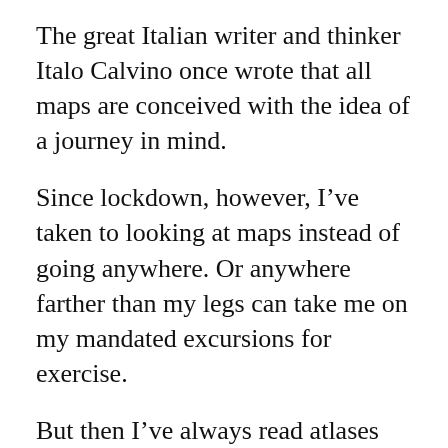The great Italian writer and thinker Italo Calvino once wrote that all maps are conceived with the idea of a journey in mind.
Since lockdown, however, I've taken to looking at maps instead of going anywhere. Or anywhere farther than my legs can take me on my mandated excursions for exercise.
But then I've always read atlases and flipped through London A-Zs for pleasure. And I prize a mid-1960s edition of the latter for allowing me to indulge in bouts of time travel, journeying over its pages, yellowed by age, through a city that no longer exists. Though even my most recent current edition feels somewhat like a survey of a lost London. And